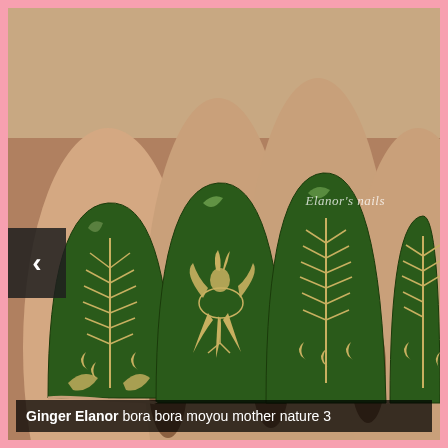[Figure (photo): Close-up photograph of a hand showing fingernails painted dark green with gold/silver stamped decorative patterns including fern-like foliage, crescent moon motifs, scrollwork, and a phoenix/bird design on the middle finger. A watermark reads 'Elanor's nails' in the upper right area of the image. A left-pointing navigation arrow button is visible on the left edge.]
Ginger Elanor bora bora moyou mother nature 3